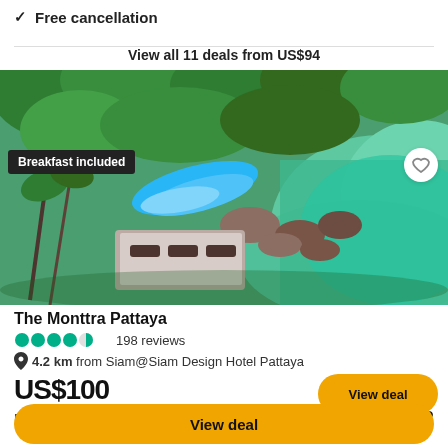✓ Free cancellation
View all 11 deals from US$94
[Figure (photo): Aerial view of The Monttra Pattaya resort showing pool, lush greenery, rocky coastline, and turquoise sea water. TripAdvisor 2022 badge visible bottom-left. 'Breakfast included' badge top-left. Heart icon top-right.]
The Monttra Pattaya
●●●●◐ 198 reviews
📍 4.2 km from Siam@Siam Design Hotel Pattaya
US$100
Booking.com ↗
US$52
View deal